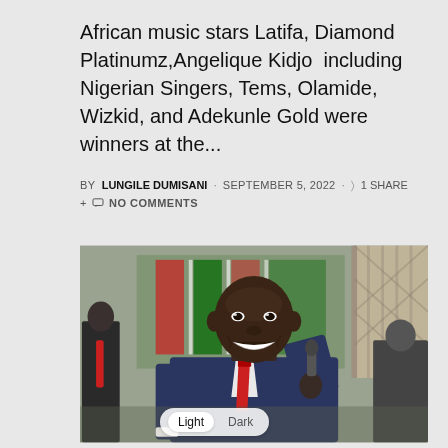African music stars Latifa, Diamond Platinumz,Angelique Kidjo  including Nigerian Singers, Tems, Olamide, Wizkid, and Adekunle Gold were winners at the...
BY LUNGILE DUMISANI · SEPTEMBER 5, 2022 · 1 SHARE · NO COMMENTS
[Figure (photo): A dark-skinned man in a navy blue suit with a red tie, holding a microphone and smiling broadly. He appears to be speaking at an outdoor event with a Kenyan flag in the background and other people visible.]